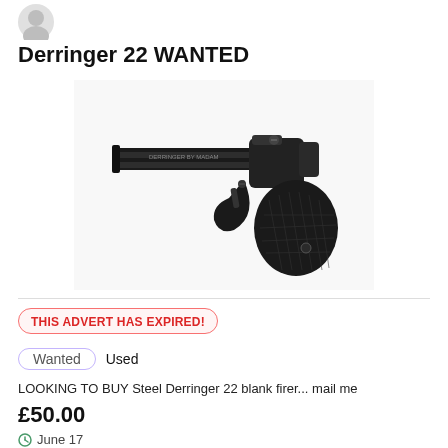[Figure (photo): Small circular avatar/profile image, partially visible at top]
Derringer 22 WANTED
[Figure (photo): Photo of a black steel Derringer 22 blank firer pistol with textured grip, side view against white background]
THIS ADVERT HAS EXPIRED!
Wanted   Used
LOOKING TO BUY Steel Derringer 22 blank firer... mail me
£50.00
June 17